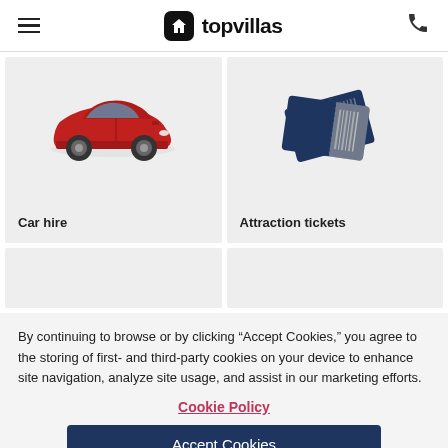topvillas
[Figure (illustration): Red sedan car illustration for Car hire service card]
Car hire
[Figure (illustration): Dark blue event tickets illustration for Attraction tickets service card]
Attraction tickets
By continuing to browse or by clicking “Accept Cookies,” you agree to the storing of first- and third-party cookies on your device to enhance site navigation, analyze site usage, and assist in our marketing efforts.
Cookie Policy
Accept Cookies